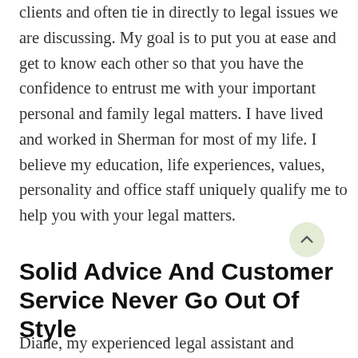clients and often tie in directly to legal issues we are discussing. My goal is to put you at ease and get to know each other so that you have the confidence to entrust me with your important personal and family legal matters. I have lived and worked in Sherman for most of my life. I believe my education, life experiences, values, personality and office staff uniquely qualify me to help you with your legal matters.
Solid Advice And Customer Service Never Go Out Of Style
Diane, my experienced legal assistant and